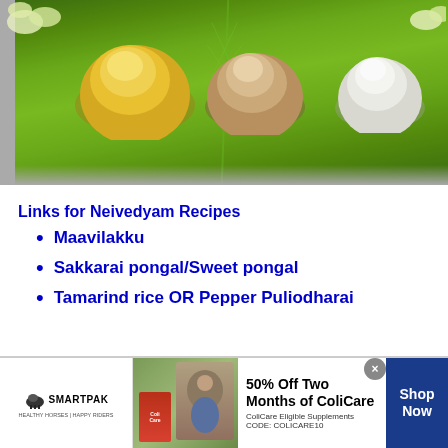[Figure (photo): Photo of three mounds of rice (yellow/lemon rice, brown rice, white rice) served on a green banana leaf, viewed from above on a gray background.]
Links for Neivedyam Recipes
Maavilakku
Sakkarai pongal/Sweet pongal
Tamarind rice OR Pepper Puliodharai
[Figure (photo): Advertisement banner for SmartPak showing a horse supplement product (ColiCare) with text: 50% Off Two Months of ColiCare, ColiCare Eligible Supplements, CODE: COLICARE10, with a Shop Now button.]